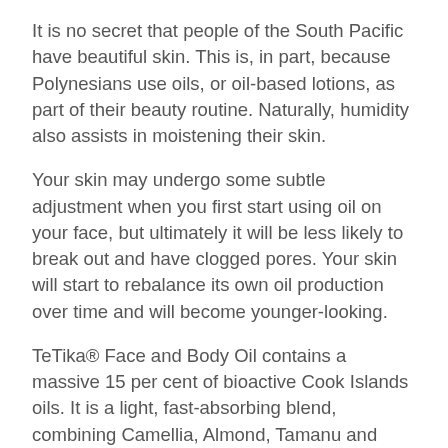It is no secret that people of the South Pacific have beautiful skin. This is, in part, because Polynesians use oils, or oil-based lotions, as part of their beauty routine. Naturally, humidity also assists in moistening their skin.
Your skin may undergo some subtle adjustment when you first start using oil on your face, but ultimately it will be less likely to break out and have clogged pores. Your skin will start to rebalance its own oil production over time and will become younger-looking.
TeTika® Face and Body Oil contains a massive 15 per cent of bioactive Cook Islands oils. It is a light, fast-absorbing blend, combining Camellia, Almond, Tamanu and Coconut oils. The Face and Body Oil is rich in antioxidants, minerals, vitamins, fatty acids and other nutrients. Formulated to combat skin dryness and support elasticity, the Face and